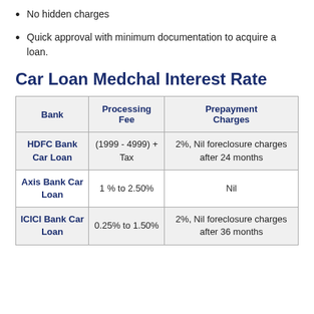No hidden charges
Quick approval with minimum documentation to acquire a loan.
Car Loan Medchal Interest Rate
| Bank | Processing Fee | Prepayment Charges |
| --- | --- | --- |
| HDFC Bank Car Loan | (1999 - 4999) + Tax | 2%, Nil foreclosure charges after 24 months |
| Axis Bank Car Loan | 1 % to 2.50% | Nil |
| ICICI Bank Car Loan | 0.25% to 1.50% | 2%, Nil foreclosure charges after 36 months |